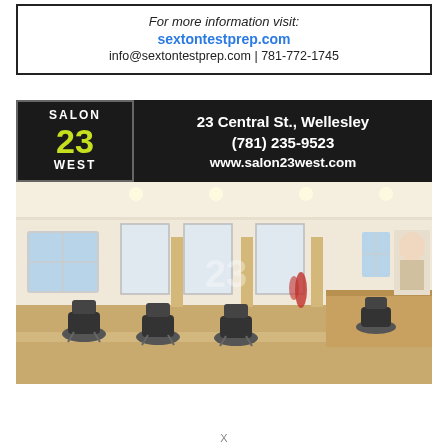For more information visit:
sextontestprep.com
info@sextontestprep.com | 781-772-1745
[Figure (illustration): Salon 23 West advertisement. Header with logo showing 'SALON 23 WEST' in white and green on dark background, address '23 Central St., Wellesley', phone '(781) 235-9523', website 'www.salon23west.com'. Below is a photo of a hair salon interior with styling chairs, mirrors, and warm lighting.]
X